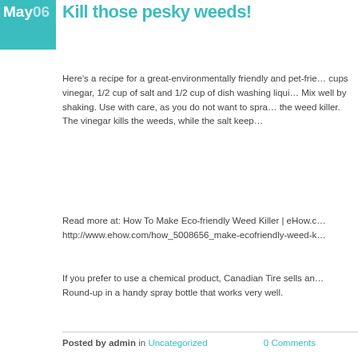May 06
Kill those pesky weeds!
Here's a recipe for a great-environmentally friendly and pet-friendly weed killer: 2 cups vinegar, 1/2 cup of salt and 1/2 cup of dish washing liquid in a spray bottle. Mix well by shaking. Use with care, as you do not want to spray plants other than the weed killer. The vinegar kills the weeds, while the salt keeps
Read more at: How To Make Eco-friendly Weed Killer | eHow.com http://www.ehow.com/how_5008656_make-ecofriendly-weed-k
If you prefer to use a chemical product, Canadian Tire sells an Round-up in a handy spray bottle that works very well.
Posted by admin in Uncategorized    0 Comments
Nov 25
No bird feeders please